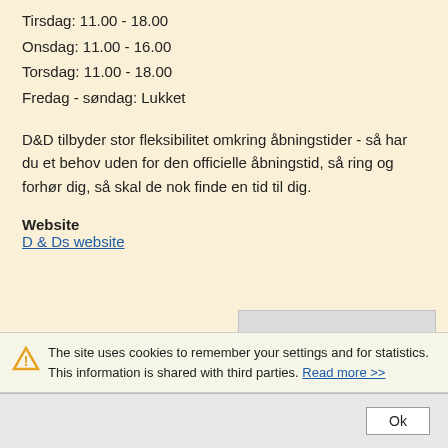Tirsdag: 11.00 - 18.00
Onsdag: 11.00 - 16.00
Torsdag: 11.00 - 18.00
Fredag - søndag: Lukket
D&D tilbyder stor fleksibilitet omkring åbningstider - så har du et behov uden for den officielle åbningstid, så ring og forhør dig, så skal de nok finde en tid til dig.
Website
D & Ds website
[Figure (other): Gray placeholder advertisement box]
The site uses cookies to remember your settings and for statistics. This information is shared with third parties. Read more >>
Ok